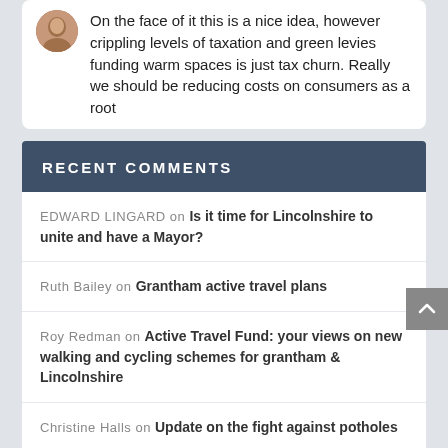On the face of it this is a nice idea, however crippling levels of taxation and green levies funding warm spaces is just tax churn. Really we should be reducing costs on consumers as a root
RECENT COMMENTS
EDWARD LINGARD on Is it time for Lincolnshire to unite and have a Mayor?
Ruth Bailey on Grantham active travel plans
Roy Redman on Active Travel Fund: your views on new walking and cycling schemes for grantham & Lincolnshire
Christine Halls on Update on the fight against potholes